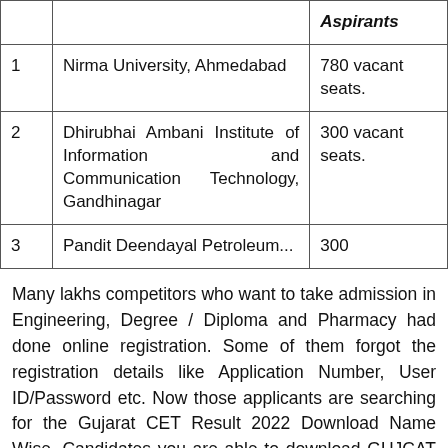|  |  | Aspirants |
| --- | --- | --- |
| 1 | Nirma University, Ahmedabad | 780 vacant seats. |
| 2 | Dhirubhai Ambani Institute of Information and Communication Technology, Gandhinagar | 300 vacant seats. |
| 3 | Pandit Deendayal Petroleum... | 300... |
Many lakhs competitors who want to take admission in Engineering, Degree / Diploma and Pharmacy had done online registration. Some of them forgot the registration details like Application Number, User ID/Password etc. Now those applicants are searching for the Gujarat CET Result 2022 Download Name Wise. Candidates you are able to download GUJCAT 2022 name Wise Result if the facility is available online at the official